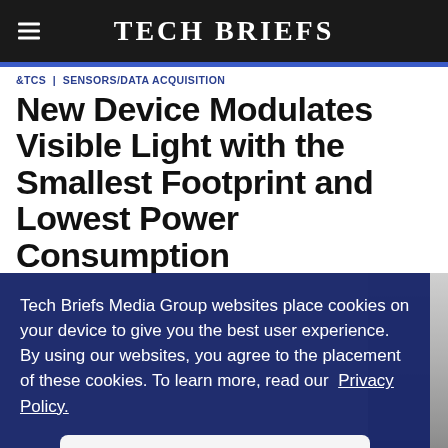Tech Briefs
&TCS | SENSORS/DATA ACQUISITION
New Device Modulates Visible Light with the Smallest Footprint and Lowest Power Consumption
Tech Briefs Media Group websites place cookies on your device to give you the best user experience. By using our websites, you agree to the placement of these cookies. To learn more, read our Privacy Policy.
Accept & Continue
[Figure (photo): Partial view of a device or component, partially obscured by cookie consent overlay]